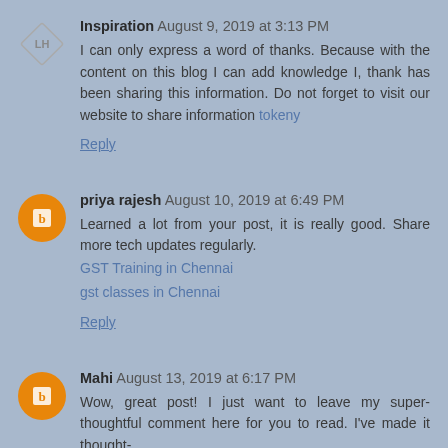Inspiration August 9, 2019 at 3:13 PM
I can only express a word of thanks. Because with the content on this blog I can add knowledge I, thank has been sharing this information. Do not forget to visit our website to share information tokeny
Reply
priya rajesh August 10, 2019 at 6:49 PM
Learned a lot from your post, it is really good. Share more tech updates regularly.
GST Training in Chennai
gst classes in Chennai
Reply
Mahi August 13, 2019 at 6:17 PM
Wow, great post! I just want to leave my super-thoughtful comment here for you to read. I've made it thought-